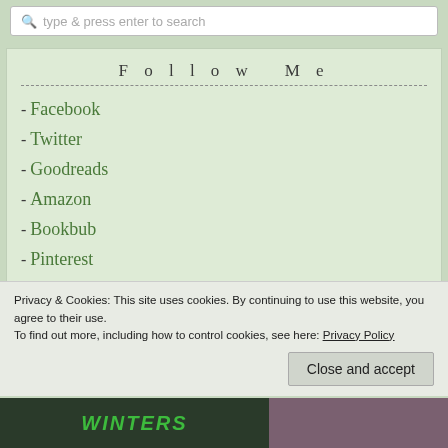type & press enter to search
Follow Me
- Facebook
- Twitter
- Goodreads
- Amazon
- Bookbub
- Pinterest
- RSS Feed
- Bloglovin
Privacy & Cookies: This site uses cookies. By continuing to use this website, you agree to their use.
To find out more, including how to control cookies, see here: Privacy Policy
Close and accept
[Figure (photo): Book cover thumbnails at the bottom of the page - left shows green text on dark background, right shows a person]